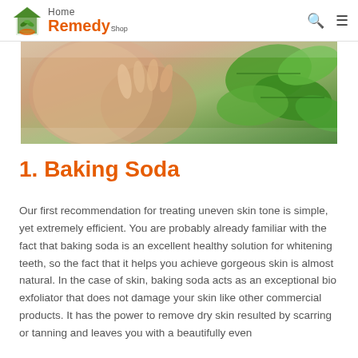Home Remedy Shop
[Figure (photo): Close-up of a woman's face and hands near green leaves, suggesting natural skin care remedy]
1. Baking Soda
Our first recommendation for treating uneven skin tone is simple, yet extremely efficient. You are probably already familiar with the fact that baking soda is an excellent healthy solution for whitening teeth, so the fact that it helps you achieve gorgeous skin is almost natural. In the case of skin, baking soda acts as an exceptional bio exfoliator that does not damage your skin like other commercial products. It has the power to remove dry skin resulted by scarring or tanning and leaves you with a beautifully even